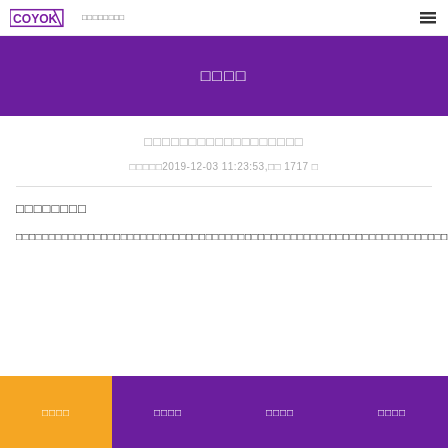COYOK logo with navigation icon
□□□□
□□□□□□□□□□□□□□□□□□
□□□□□2019-12-03 11:23:53,□□ 1717 □
□□□□□□□□
□□□□□□□□□□□□□□□□□□□□□□□□□□□□□□□□□□□□□□□□□□□□□□□□□□□□□□□□□□□□□□□□□□□□□□□□□□□□□□□□□□
□□□□  □□□□  □□□□  □□□□